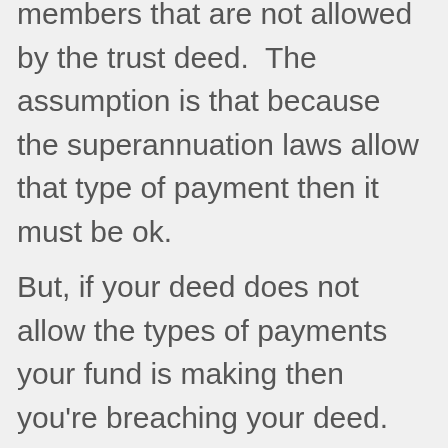members that are not allowed by the trust deed.  The assumption is that because the superannuation laws allow that type of payment then it must be ok.
But, if your deed does not allow the types of payments your fund is making then you're breaching your deed.  Check the deed detail well before you anticipate the fund needing to make payments. This is particularly important for deeds created before 1 July 2007 when the superannuation laws on pension